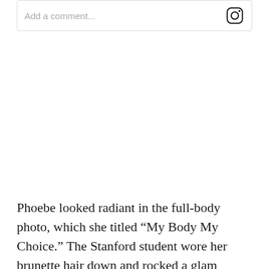[Figure (screenshot): Instagram comment input box with placeholder text 'Add a comment...' and Instagram camera logo icon on the right]
Phoebe looked radiant in the full-body photo, which she titled “My Body My Choice.” The Stanford student wore her brunette hair down and rocked a glam makeup look. Her toenails were painted red. The post